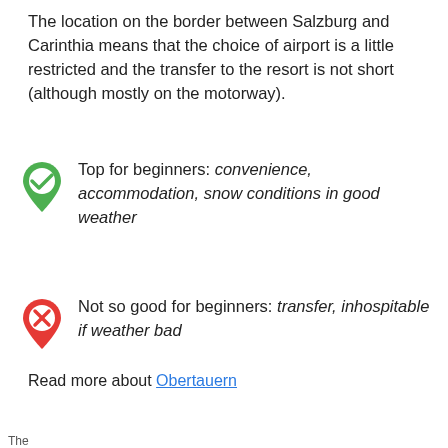The location on the border between Salzburg and Carinthia means that the choice of airport is a little restricted and the transfer to the resort is not short (although mostly on the motorway).
Top for beginners: convenience, accommodation, snow conditions in good weather
Not so good for beginners: transfer, inhospitable if weather bad
Read more about Obertauern
Check Obertauern Availability